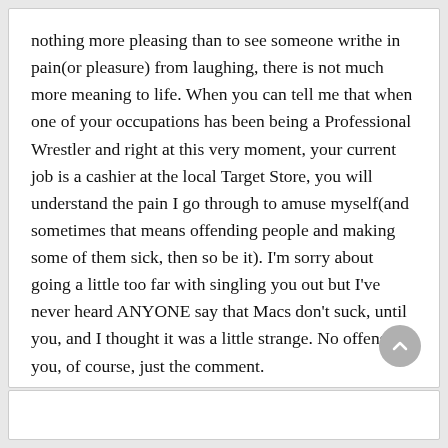nothing more pleasing than to see someone writhe in pain(or pleasure) from laughing, there is not much more meaning to life. When you can tell me that when one of your occupations has been being a Professional Wrestler and right at this very moment, your current job is a cashier at the local Target Store, you will understand the pain I go through to amuse myself(and sometimes that means offending people and making some of them sick, then so be it). I'm sorry about going a little too far with singling you out but I've never heard ANYONE say that Macs don't suck, until you, and I thought it was a little strange. No offense to you, of course, just the comment.